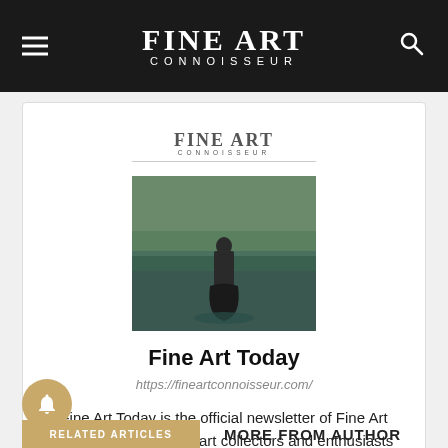FINE ART CONNOISSEUR
[Figure (logo): Fine Art Connoisseur magazine cover thumbnail showing logo text and a figure standing in water]
Fine Art Today
https://fineartconnoisseur.com/
Fine Art Today is the official newsletter of Fine Art Connoisseur, serving art collectors and enthusiasts with innovative articles about representational paintings, sculptures, drawings, and prints — both historical and contemporary, American and European.
RELATED ARTICLES
MORE FROM AUTHOR